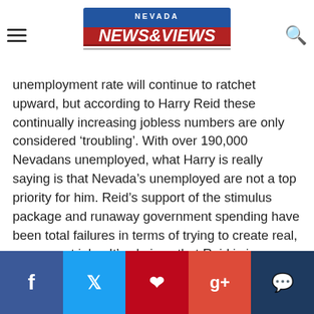NEVADA NEWS&VIEWS
unemployment rate will continue to ratchet upward, but according to Harry Reid these continually increasing jobless numbers are only considered ‘troubling’. With over 190,000 Nevadans unemployed, what Harry is really saying is that Nevada’s unemployed are not a top priority for him. Reid’s support of the stimulus package and runaway government spending have been total failures in terms of trying to create real, permanent jobs. It’s obvious that Reid is in way over his head — He has failed to get America on the economic march once again.”
Angle said there are real solutions in the free market. “The first step is to replace this undisciplined
f  t  p  g+  comment